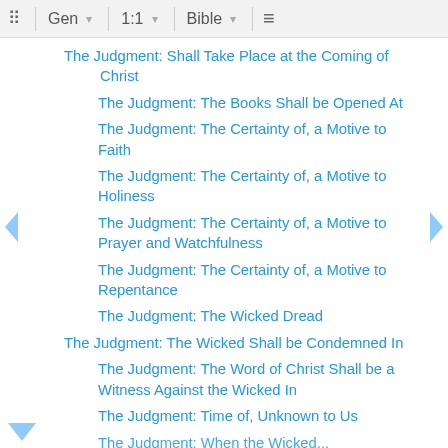Gen | 1:1 | Bible
The Judgment: Shall Take Place at the Coming of Christ
The Judgment: The Books Shall be Opened At
The Judgment: The Certainty of, a Motive to Faith
The Judgment: The Certainty of, a Motive to Holiness
The Judgment: The Certainty of, a Motive to Prayer and Watchfulness
The Judgment: The Certainty of, a Motive to Repentance
The Judgment: The Wicked Dread
The Judgment: The Wicked Shall be Condemned In
The Judgment: The Word of Christ Shall be a Witness Against the Wicked In
The Judgment: Time of, Unknown to Us
The Judgment: When the Wicked...